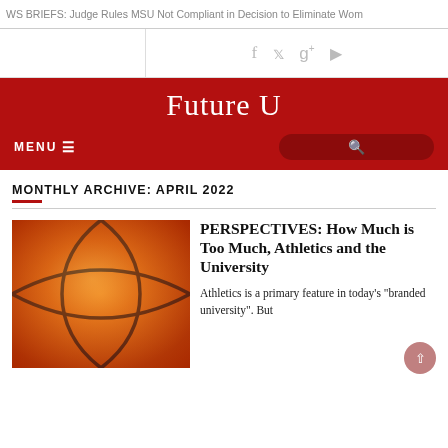WS BRIEFS: Judge Rules MSU Not Compliant in Decision to Eliminate Wom
[Figure (screenshot): Social media icons row: Facebook, Twitter, Google+, YouTube]
Future U
MENU ≡
MONTHLY ARCHIVE: APRIL 2022
[Figure (photo): Close-up photo of a basketball with orange and black seams]
PERSPECTIVES: How Much is Too Much, Athletics and the University
Athletics is a primary feature in today's "branded university". But